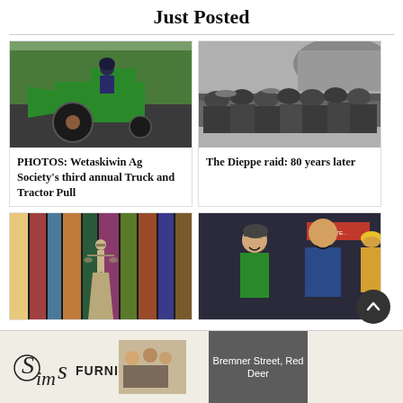Just Posted
[Figure (photo): Person riding a green tractor wearing a helmet, outdoors with trees in background]
PHOTOS: Wetaskiwin Ag Society's third annual Truck and Tractor Pull
[Figure (photo): Black and white historical photo of soldiers crowded in a landing craft, Dieppe raid WWII]
The Dieppe raid: 80 years later
[Figure (photo): Lady Justice figurine among books with colorful spines]
[Figure (photo): Two men smiling, one in green shirt, another in blue jacket, partial view of third person in yellow hard hat]
[Figure (advertisement): Sims Furniture advertisement with logo and people on couch, text: Bremner Street, Red Deer]